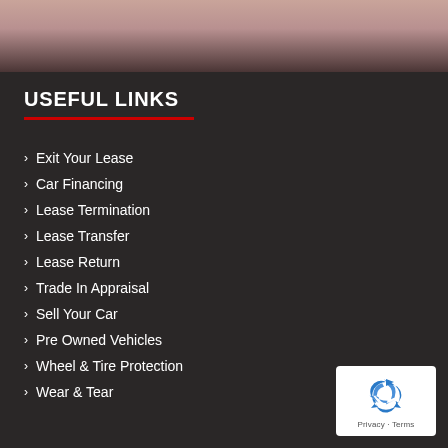[Figure (photo): Top banner photo showing a blurred dark reddish-tone car scene background]
USEFUL LINKS
Exit Your Lease
Car Financing
Lease Termination
Lease Transfer
Lease Return
Trade In Appraisal
Sell Your Car
Pre Owned Vehicles
Wheel & Tire Protection
Wear & Tear
[Figure (logo): reCAPTCHA badge with recycling arrow icon and Privacy - Terms text]